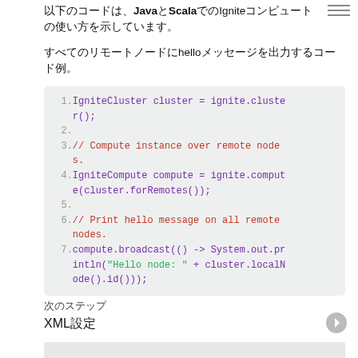以下のコードは、JavaとScalaでのIgniteコンピュートの使い方を示しています。
すべてのリモートノードにhelloメッセージを出力するコード例。
[Figure (screenshot): Java code block showing IgniteCluster and IgniteCompute usage with broadcast to remote nodes. Lines 1-7.]
次のステップ
XML設定